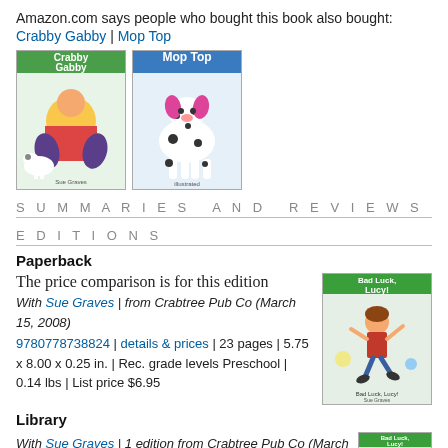Amazon.com says people who bought this book also bought:
Crabby Gabby | Mop Top
[Figure (illustration): Two children's book covers side by side: 'Crabby Gabby' (colorful illustrated cover with girl and animals) and 'Mop Top' (illustrated cover with dalmatian dog)]
SUMMARIES AND REVIEWS
EDITIONS
Paperback
The price comparison is for this edition
With Sue Graves | from Crabtree Pub Co (March 15, 2008) 9780778738824 | details & prices | 23 pages | 5.75 x 8.00 x 0.25 in. | Rec. grade levels Preschool | 0.14 lbs | List price $6.95
[Figure (illustration): Book cover thumbnail: Bad Luck, Lucy! children's book with illustrated girl in red shirt jumping]
Library
With Sue Graves | 1 edition from Crabtree Pub Co (March 15,
[Figure (illustration): Book cover thumbnail: Bad Luck, Lucy! children's book (partial view at bottom right)]